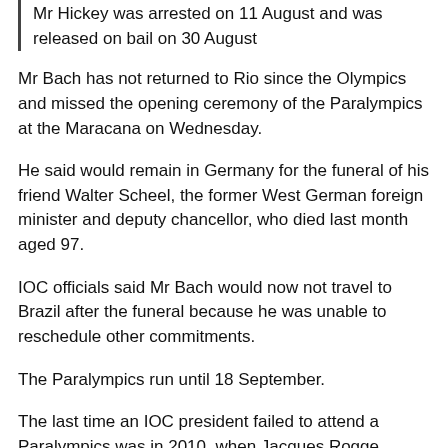Mr Hickey was arrested on 11 August and was released on bail on 30 August
Mr Bach has not returned to Rio since the Olympics and missed the opening ceremony of the Paralympics at the Maracana on Wednesday.
He said would remain in Germany for the funeral of his friend Walter Scheel, the former West German foreign minister and deputy chancellor, who died last month aged 97.
IOC officials said Mr Bach would now not travel to Brazil after the funeral because he was unable to reschedule other commitments.
The Paralympics run until 18 September.
The last time an IOC president failed to attend a Paralympics was in 2010, when Jacques Rogge missed the whole of the Winter Games in Vancouver.